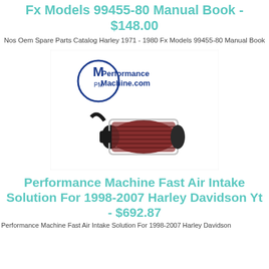Fx Models 99455-80 Manual Book - $148.00
Nos Oem Spare Parts Catalog Harley 1971 - 1980 Fx Models 99455-80 Manual Book
[Figure (photo): Performance Machine logo and an air intake filter product photo showing a conical red/maroon air filter with chrome/black frame]
Performance Machine Fast Air Intake Solution For 1998-2007 Harley Davidson Yt - $692.87
Performance Machine Fast Air Intake Solution For 1998-2007 Harley Davidson